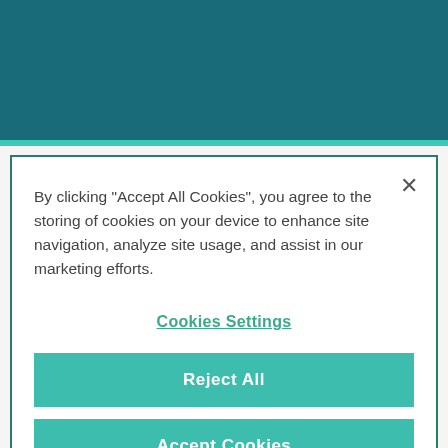However, that no employer is held to the standard of hindsight when evaluating whether a business circumstance is unforeseeable.
By clicking "Accept All Cookies", you agree to the storing of cookies on your device to enhance site navigation, analyze site usage, and assist in our marketing efforts.
Cookies Settings
Reject All
Accept Cookies